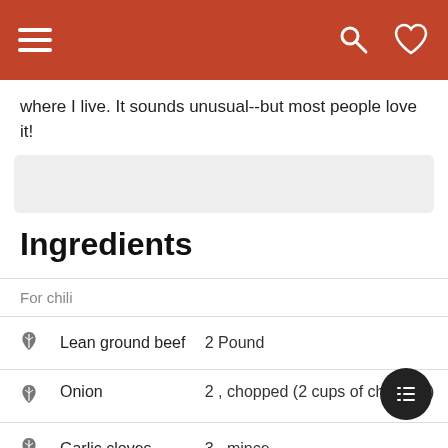Navigation header bar with hamburger menu, search and heart icons
where I live. It sounds unusual--but most people love it!
[Figure (other): Grey advertisement/placeholder box]
Ingredients
|  | Ingredient | Quantity |
| --- | --- | --- |
|  | For chili |  |
| leaf | Lean ground beef | 2 Pound |
| leaf | Onion | 2 , chopped (2 cups of chopped) |
| leaf | Garlic cloves | 3 , mince |
| leaf | Tomato sauce | 15 Ounce |